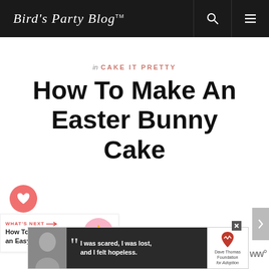Bird's Party Blog™
in CAKE IT PRETTY
How To Make An Easter Bunny Cake
WHAT'S NEXT → How To Make an Easy...
[Figure (screenshot): Advertisement banner: black and white photo of woman, quote 'I was scared, I was lost, and I felt hopeless.' with Dave Thomas Foundation for Adoption logo]